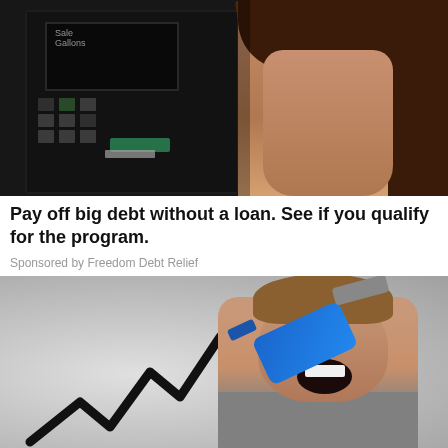[Figure (photo): Woman at a gas station pump holding a credit card, with gas pump keypad and a large number 4 visible, pump nozzle in background]
Pay off big debt without a loan. See if you qualify for the program.
Sponsored by Freedom Debt Relief
[Figure (illustration): Cartoon illustration of a screaming man with a blue gas pump nozzle pressed to his head like a gun, superimposed over a zigzag stock-chart arrow going upward, on a gray gradient background]
5 Things for Every American to Do Before the Recession Hits